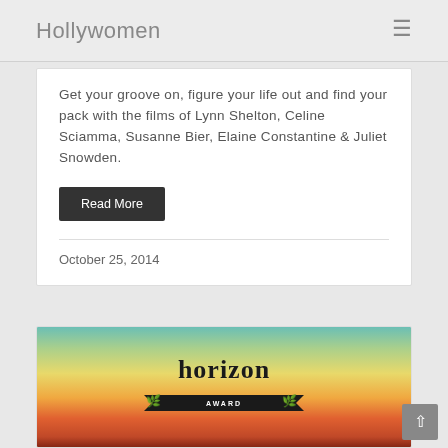Hollywomen
Get your groove on, figure your life out and find your pack with the films of Lynn Shelton, Celine Sciamma, Susanne Bier, Elaine Constantine & Juliet Snowden.
Read More
October 25, 2014
[Figure (illustration): Horizon Award logo: decorative text 'horizon' in serif font above a dark ribbon banner reading 'AWARD' in small caps, flanked by olive branch leaves on each side, set against a sunset sky gradient background.]